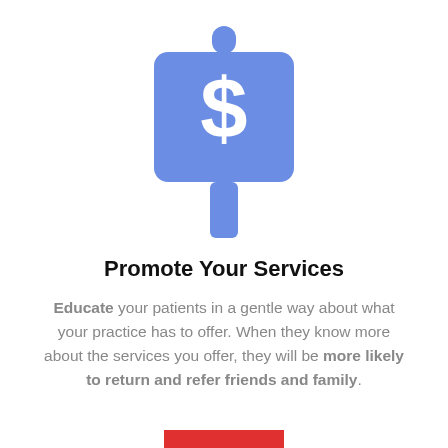[Figure (illustration): A blue price tag or sign icon with a dollar sign, on a pole, indicating pricing or services promotion.]
Promote Your Services
Educate your patients in a gentle way about what your practice has to offer. When they know more about the services you offer, they will be more likely to return and refer friends and family.